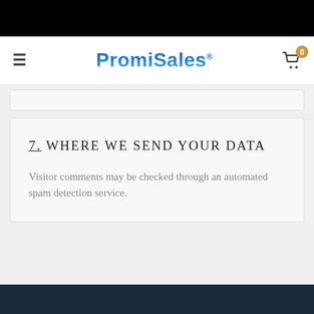PromiSales
7. WHERE WE SEND YOUR DATA
Visitor comments may be checked through an automated spam detection service.